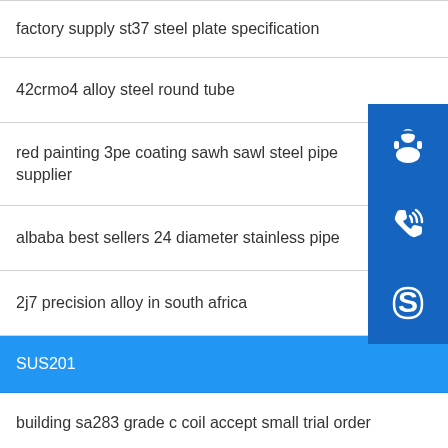factory supply st37 steel plate specification
42crmo4 alloy steel round tube
red painting 3pe coating sawh sawl steel pipe supplier
albaba best sellers 24 diameter stainless pipe
2j7 precision alloy in south africa
SUS201
building sa283 grade c coil accept small trial order
304 stainless steel cr sheets for manufacturing